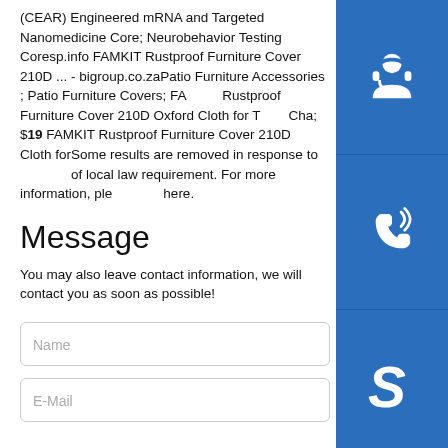(CEAR) Engineered mRNA and Targeted Nanomedicine Core; Neurobehavior Testing Coresp.info FAMKIT Rustproof Furniture Cover 210D ... - bigroup.co.zaPatio Furniture Accessories ; Patio Furniture Covers; FAMKIT Rustproof Furniture Cover 210D Oxford Cloth for T Cha; $19 FAMKIT Rustproof Furniture Cover 210D Oxford Cloth forSome results are removed in response to a notice of local law requirement. For more information, please see here.
[Figure (screenshot): Three blue square buttons stacked vertically on the right side: customer support headset icon, phone/call icon, and Skype icon]
Message
You may also leave contact information, we will contact you as soon as possible!
Name
E-Mail